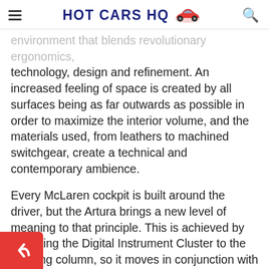HOT CARS HQ
environment that blends revolutionary ergonomics, technology, design and refinement. An increased feeling of space is created by all surfaces being as far outwards as possible in order to maximize the interior volume, and the materials used, from leathers to machined switchgear, create a technical and contemporary ambience.
Every McLaren cockpit is built around the driver, but the Artura brings a new level of meaning to that principle. This is achieved by mounting the Digital Instrument Cluster to the steering column, so it moves in conjunction with the steering wheel. As a driver adjusts the column to their preferred position, perfect visibility of the instrumentation is maintained – and better still, the rocker switches